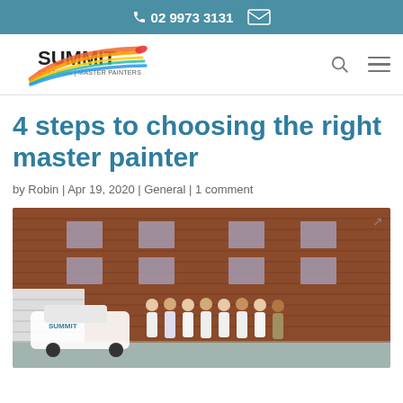02 9973 3131
[Figure (logo): Summit Coatings Master Painters logo with rainbow brush stroke]
4 steps to choosing the right master painter
by Robin | Apr 19, 2020 | General | 1 comment
[Figure (photo): Group of Summit Coatings painters in white uniforms standing in front of a brick building with a company vehicle]